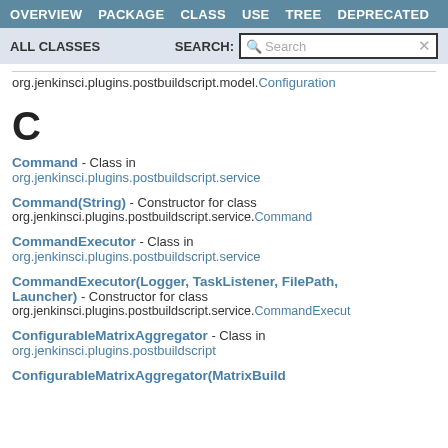OVERVIEW   PACKAGE   CLASS   USE   TREE   DEPRECATED
ALL CLASSES   SEARCH:
org.jenkinsci.plugins.postbuildscript.model.Configuration
C
Command - Class in org.jenkinsci.plugins.postbuildscript.service
Command(String) - Constructor for class org.jenkinsci.plugins.postbuildscript.service.Command
CommandExecutor - Class in org.jenkinsci.plugins.postbuildscript.service
CommandExecutor(Logger, TaskListener, FilePath, Launcher) - Constructor for class org.jenkinsci.plugins.postbuildscript.service.CommandExecutor
ConfigurableMatrixAggregator - Class in org.jenkinsci.plugins.postbuildscript
ConfigurableMatrixAggregator(MatrixBuild...